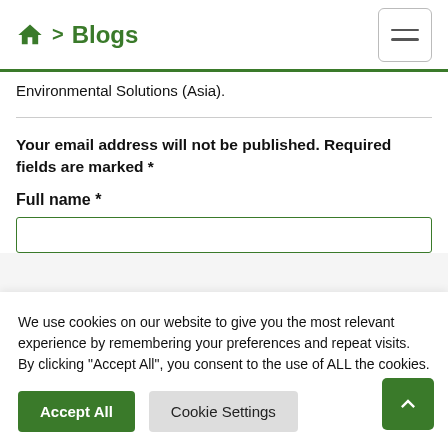🏠 > Blogs
Environmental Solutions (Asia).
Your email address will not be published. Required fields are marked *
Full name *
We use cookies on our website to give you the most relevant experience by remembering your preferences and repeat visits. By clicking "Accept All", you consent to the use of ALL the cookies.